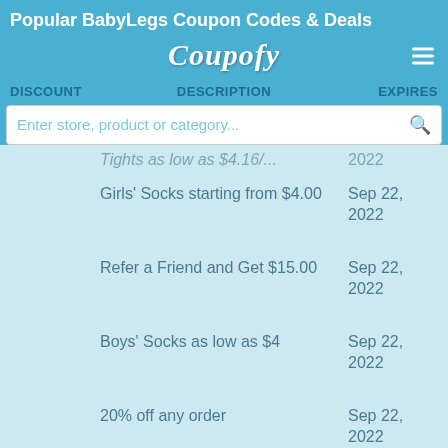Popular BabyLegs Coupon Codes & Deals
[Figure (logo): Coupofy script logo in white on blue header background with hamburger menu icon]
| DISCOUNT | DESCRIPTION | EXPIRES |
| --- | --- | --- |
|  | Tights as low as $4.16/... | 2022 |
|  | Girls' Socks starting from $4.00 | Sep 22, 2022 |
|  | Refer a Friend and Get $15.00 | Sep 22, 2022 |
|  | Boys' Socks as low as $4 | Sep 22, 2022 |
|  | 20% off any order | Sep 22, 2022 |